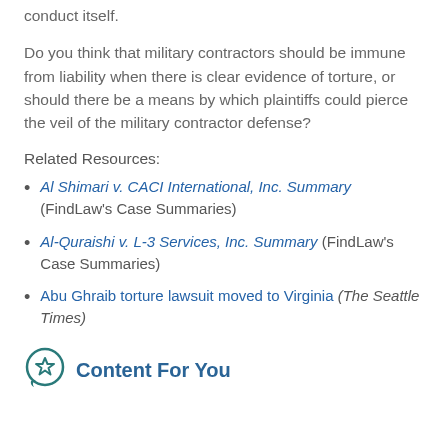conduct itself.
Do you think that military contractors should be immune from liability when there is clear evidence of torture, or should there be a means by which plaintiffs could pierce the veil of the military contractor defense?
Related Resources:
Al Shimari v. CACI International, Inc. Summary (FindLaw's Case Summaries)
Al-Quraishi v. L-3 Services, Inc. Summary (FindLaw's Case Summaries)
Abu Ghraib torture lawsuit moved to Virginia (The Seattle Times)
Content For You